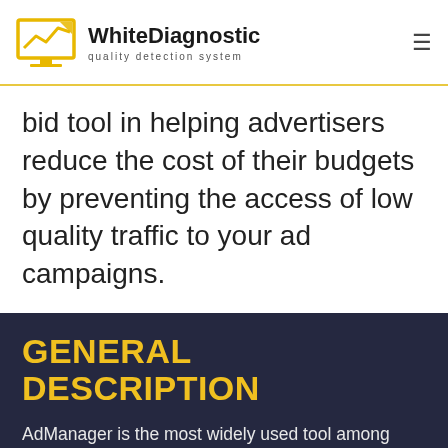WhiteDiagnostic quality detection system
bid tool in helping advertisers reduce the cost of their budgets by preventing the access of low quality traffic to your ad campaigns.
GENERAL DESCRIPTION
AdManager is the most widely used tool among advertisers and ad networks that work with direct advertisers. This tool is a JavaScript tag where the ad campaign's tag is added to and is sent to publishers or publishing networks. The code is triggered immediately upon any visit to an advertising platform or website. Furthermore,